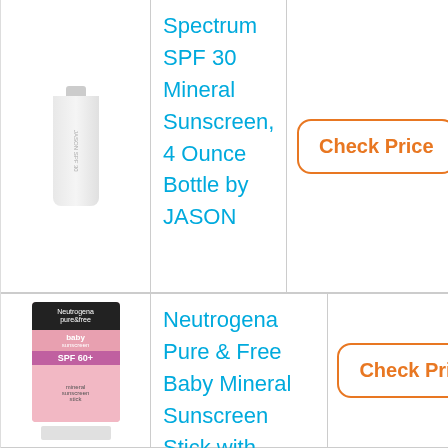[Figure (photo): JASON sunscreen tube product image, white/grey tube]
Spectrum SPF 30 Mineral Sunscreen, 4 Ounce Bottle by JASON
Check Price
[Figure (photo): Neutrogena Pure & Free Baby sunscreen stick in pink packaging]
Neutrogena Pure & Free Baby Mineral Sunscreen Stick with Broad Spectrum SPF 60 & Zinc Oxide, Water-Resistant, Hypoallergenic, Oil- & PABA-Free Baby Sunscreen, 0.47 oz by
Check Price